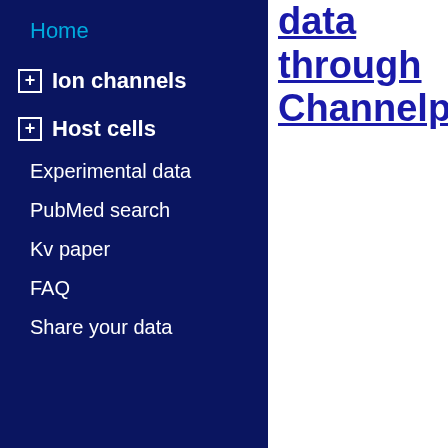Home
Ion channels
Host cells
Experimental data
PubMed search
Kv paper
FAQ
Share your data
data through Channelpe